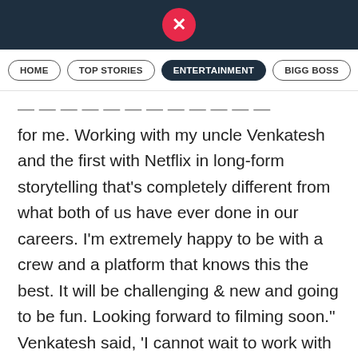X logo
HOME | TOP STORIES | ENTERTAINMENT | BIGG BOSS
for me. Working with my uncle Venkatesh and the first with Netflix in long-form storytelling that's completely different from what both of us have ever done in our careers. I'm extremely happy to be with a crew and a platform that knows this the best. It will be challenging & new and going to be fun. Looking forward to filming soon." Venkatesh said, 'I cannot wait to work with Rana (Daggubati), we are going to have a blast on-